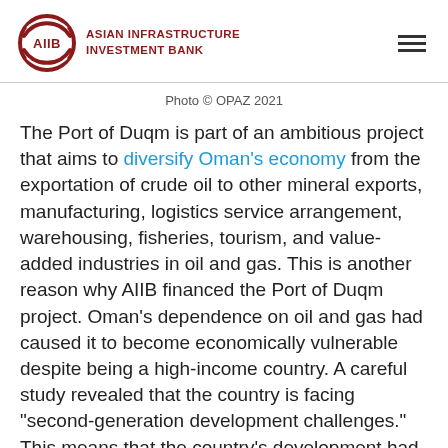AIIB ASIAN INFRASTRUCTURE INVESTMENT BANK
Photo © OPAZ 2021
The Port of Duqm is part of an ambitious project that aims to diversify Oman's economy from the exportation of crude oil to other mineral exports, manufacturing, logistics service arrangement, warehousing, fisheries, tourism, and value-added industries in oil and gas. This is another reason why AIIB financed the Port of Duqm project. Oman's dependence on oil and gas had caused it to become economically vulnerable despite being a high-income country. A careful study revealed that the country is facing "second-generation development challenges." This means that the country's development had reached a point wherein it is